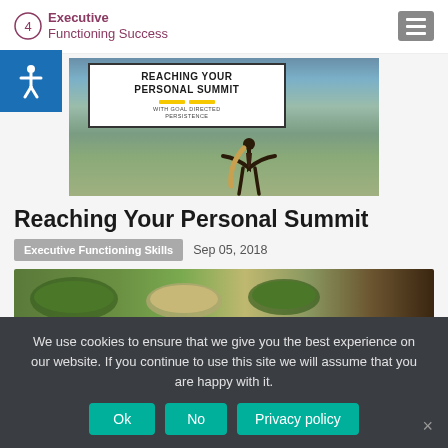Executive Functioning Success
[Figure (photo): Website screenshot showing 'Reaching Your Personal Summit - With Goal Directed Persistence' banner with a person raising arms on a mountain/cliff background]
Reaching Your Personal Summit
Executive Functioning Skills   Sep 05, 2018
[Figure (photo): Partial food/salad photo at bottom of article preview]
We use cookies to ensure that we give you the best experience on our website. If you continue to use this site we will assume that you are happy with it.